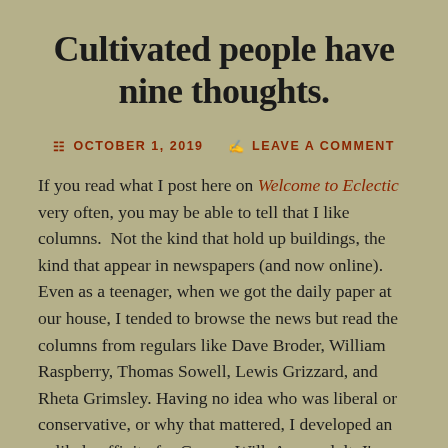Cultivated people have nine thoughts.
OCTOBER 1, 2019   LEAVE A COMMENT
If you read what I post here on Welcome to Eclectic very often, you may be able to tell that I like columns.  Not the kind that hold up buildings, the kind that appear in newspapers (and now online). Even as a teenager, when we got the daily paper at our house, I tended to browse the news but read the columns from regulars like Dave Broder, William Raspberry, Thomas Sowell, Lewis Grizzard, and Rheta Grimsley. Having no idea who was liberal or conservative, or why that mattered, I developed an unlikely affinity for George Will. As an adult, I've particularly liked David Brooks and EJ Dionne, and becoming an avid watcher of PBS NewsHour in more recent years has brought Mark Shields and Michael